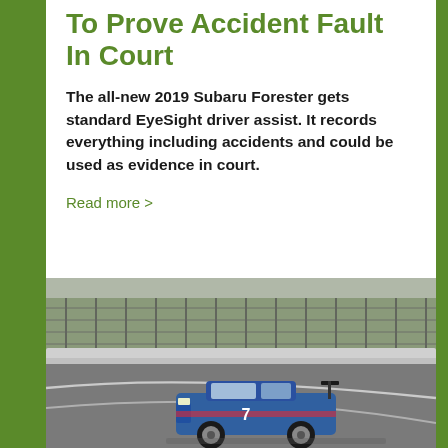To Prove Accident Fault In Court
The all-new 2019 Subaru Forester gets standard EyeSight driver assist. It records everything including accidents and could be used as evidence in court.
Read more >
[Figure (photo): A blue racing car on a race track circuit with guardrails and fencing in the background. The car appears to be a touring car or GT-class vehicle with a rear spoiler, navigating a curve on the track.]